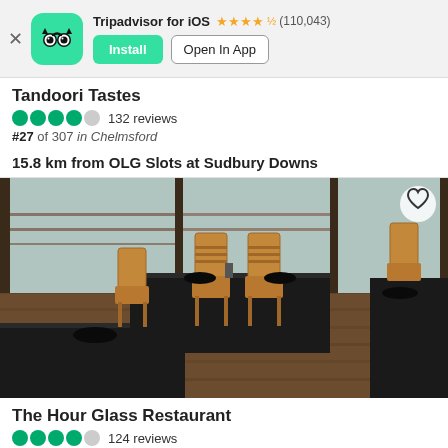[Figure (screenshot): Tripadvisor app install banner with owl logo, star rating 4.5, (110,043) reviews, Install button and Open In App button]
Tandoori Tastes
4 out of 5 bubbles, 132 reviews
#27 of 307 in Chelmsford
15.8 km from OLG Slots at Sudbury Downs
[Figure (photo): Interior of The Hour Glass Restaurant showing tables with black tablecloths and wooden chairs, large windows overlooking outdoor area with wooden deck railing]
The Hour Glass Restaurant
4 out of 5 bubbles, 124 reviews